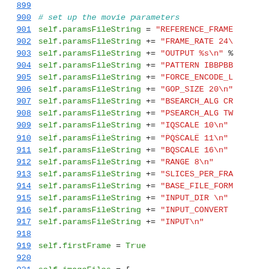[Figure (screenshot): Source code viewer showing Python code lines 899–921 with line numbers, green keywords for 'self' and variable names, red strings, and teal comments.]